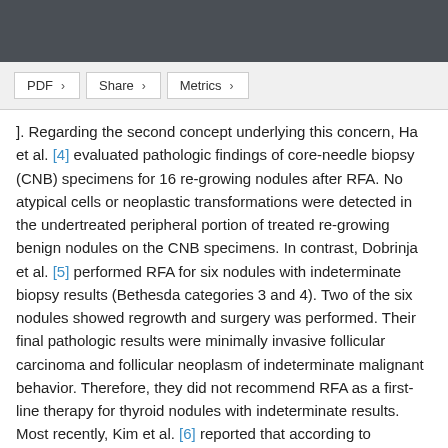]. Regarding the second concept underlying this concern, Ha et al. [4] evaluated pathologic findings of core-needle biopsy (CNB) specimens for 16 re-growing nodules after RFA. No atypical cells or neoplastic transformations were detected in the undertreated peripheral portion of treated re-growing benign nodules on the CNB specimens. In contrast, Dobrinja et al. [5] performed RFA for six nodules with indeterminate biopsy results (Bethesda categories 3 and 4). Two of the six nodules showed regrowth and surgery was performed. Their final pathologic results were minimally invasive follicular carcinoma and follicular neoplasm of indeterminate malignant behavior. Therefore, they did not recommend RFA as a first-line therapy for thyroid nodules with indeterminate results. Most recently, Kim et al. [6] reported that according to published research, the tumor volume doubling time could not predict malignancy in thyroid nodules cytologically diagnosed as follicular neoplasms. Dr. Kim's last concern was the application of RFA for follicular variant